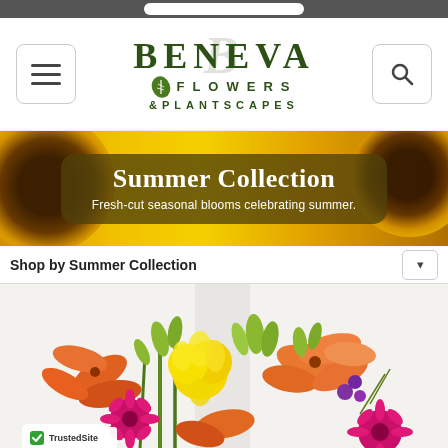[Figure (screenshot): Browser navigation bar at top]
[Figure (logo): Beneva Flowers & Plantscapes logo with green serif text, cursive B watermark, and leaf icon]
[Figure (photo): Hero banner with sunflower background image and dark olive rounded rectangle overlay containing 'Summer Collection' heading and subtitle text]
Summer Collection
Fresh-cut seasonal blooms celebrating summer.
Shop by Summer Collection
[Figure (photo): Close-up photo of a colorful summer flower arrangement with yellow roses, orange lilies, pink/magenta gerbera daisies, and green buds on a white background]
[Figure (logo): TrustedSite badge partially visible at bottom left of product image]